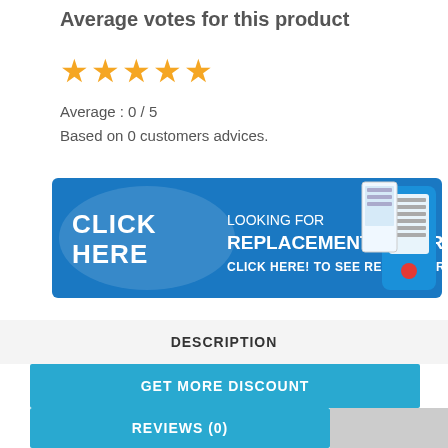Average votes for this product
[Figure (illustration): Five golden star icons representing a star rating]
Average : 0 / 5
Based on 0 customers advices.
[Figure (illustration): Blue banner advertisement: CLICK HERE - LOOKING FOR REPLACEMENT CARTRIDGE? CLICK HERE! TO SEE RELATED PRODUCT, with product images on the right]
DESCRIPTION
GET MORE DISCOUNT
REVIEWS (0)